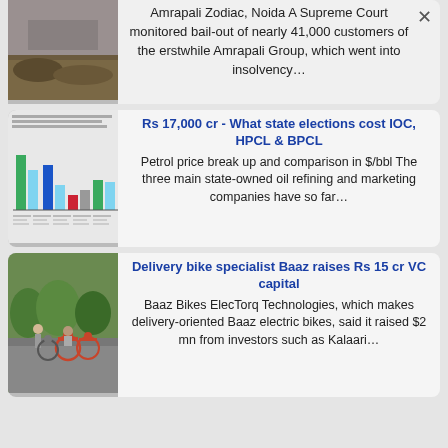Amrapali Zodiac, Noida A Supreme Court monitored bail-out of nearly 41,000 customers of the erstwhile Amrapali Group, which went into insolvency…
Rs 17,000 cr - What state elections cost IOC, HPCL & BPCL
Petrol price break up and comparison in $/bbl The three main state-owned oil refining and marketing companies have so far…
Delivery bike specialist Baaz raises Rs 15 cr VC capital
Baaz Bikes ElecTorq Technologies, which makes delivery-oriented Baaz electric bikes, said it raised $2 mn from investors such as Kalaari…